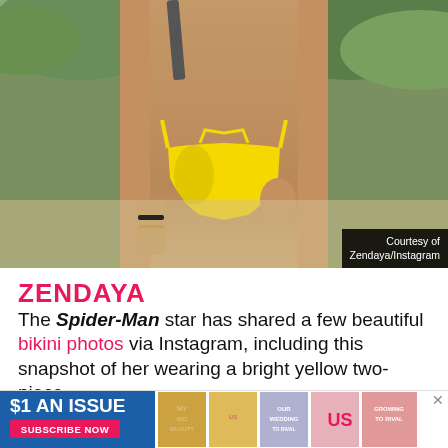[Figure (photo): Photo of Zendaya's torso wearing a bright yellow two-piece bikini, outdoors with green foliage in background]
Courtesy of Zendaya/Instagram
ZENDAYA
The Spider-Man star has shared a few beautiful bikini photos via Instagram, including this snapshot of her wearing a bright yellow two-piece.
[Figure (infographic): Advertisement banner: $1 AN ISSUE, SUBSCRIBE NOW, US Weekly magazine ad with magazine cover thumbnails]